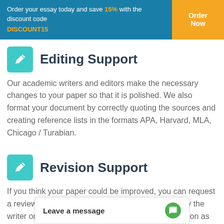Order your essay today and save 15% with the discount code DISCOUNT15
Editing Support
Our academic writers and editors make the necessary changes to your paper so that it is polished. We also format your document by correctly quoting the sources and creating reference lists in the formats APA, Harvard, MLA, Chicago / Turabian.
Revision Support
If you think your paper could be improved, you can request a review. In this case, your paper will be checked by the writer or assigned to an editor. You can use this option as m because we want y
Leave a message